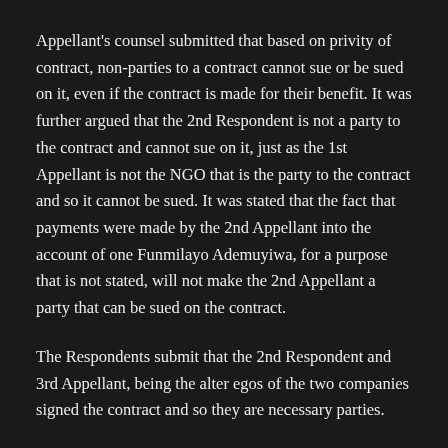Appellant's counsel submitted that based on privity of contract, non-parties to a contract cannot sue or be sued on it, even if the contract is made for their benefit. It was further argued that the 2nd Respondent is not a party to the contract and cannot sue on it, just as the 1st Appellant is not the NGO that is the party to the contract and so it cannot be sued. It was stated that the fact that payments were made by the 2nd Appellant into the account of one Funmilayo Ademuyiwa, for a purpose that is not stated, will not make the 2nd Appellant a party that can be sued on the contract.
The Respondents submit that the 2nd Respondent and 3rd Appellant, being the alter egos of the two companies signed the contract and so they are necessary parties.